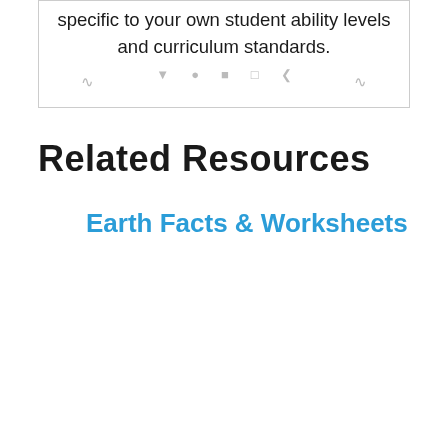specific to your own student ability levels and curriculum standards.
Related Resources
Earth Facts & Worksheets